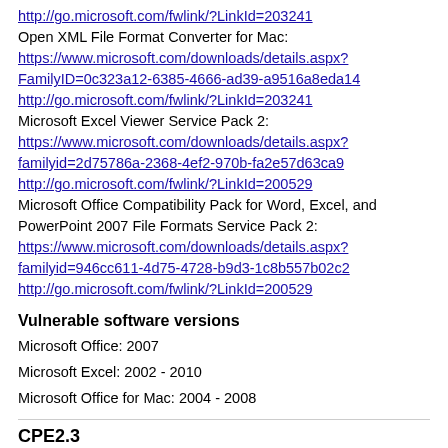http://go.microsoft.com/fwlink/?LinkId=203241
Open XML File Format Converter for Mac:
https://www.microsoft.com/downloads/details.aspx?FamilyID=0c323a12-6385-4666-ad39-a9516a8eda14
http://go.microsoft.com/fwlink/?LinkId=203241
Microsoft Excel Viewer Service Pack 2:
https://www.microsoft.com/downloads/details.aspx?familyid=2d75786a-2368-4ef2-970b-fa2e57d63ca9
http://go.microsoft.com/fwlink/?LinkId=200529
Microsoft Office Compatibility Pack for Word, Excel, and PowerPoint 2007 File Formats Service Pack 2:
https://www.microsoft.com/downloads/details.aspx?familyid=946cc611-4d75-4728-b9d3-1c8b557b02c2
http://go.microsoft.com/fwlink/?LinkId=200529
Vulnerable software versions
Microsoft Office: 2007
Microsoft Excel: 2002 - 2010
Microsoft Office for Mac: 2004 - 2008
CPE2.3